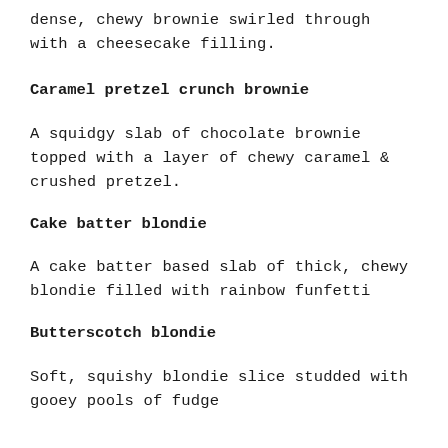dense, chewy brownie swirled through with a cheesecake filling.
Caramel pretzel crunch brownie
A squidgy slab of chocolate brownie topped with a layer of chewy caramel & crushed pretzel.
Cake batter blondie
A cake batter based slab of thick, chewy blondie filled with rainbow funfetti
Butterscotch blondie
Soft, squishy blondie slice studded with gooey pools of fudge